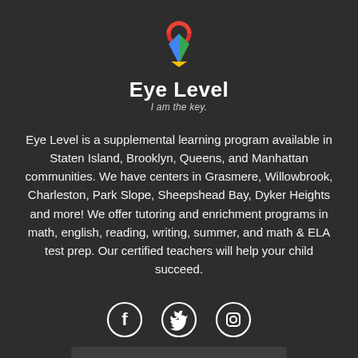[Figure (logo): Eye Level logo: colorful keyhole shape with red circle top, blue and green triangular shapes, and yellow accent. Text 'Eye Level' in bold white with tagline 'I am the key.' below.]
Eye Level is a supplemental learning program available in Staten Island, Brooklyn, Queens, and Manhattan communities. We have centers in Grasmere, Willowbrook, Charleston, Park Slope, Sheepshead Bay, Dyker Heights and more! We offer tutoring and enrichment programs in math, english, reading, writing, summer, and math & ELA test prep. Our certified teachers will help your child succeed.
[Figure (illustration): Three social media icons in white circles on dark background: Facebook (f), Twitter (bird), Instagram (camera outline)]